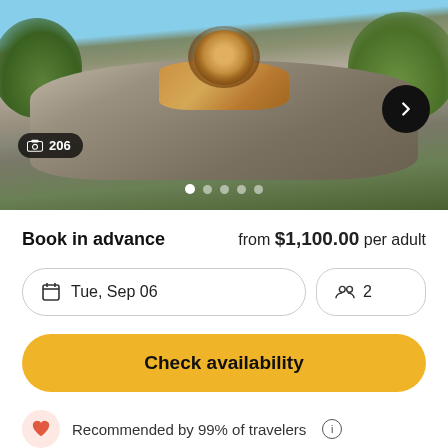[Figure (photo): A lion resting on a large rock formation surrounded by green trees and vegetation, with a rocky landscape background.]
Book in advance   from $1,100.00 per adult
Tue, Sep 06
2
Check availability
Recommended by 99% of travelers ⓘ